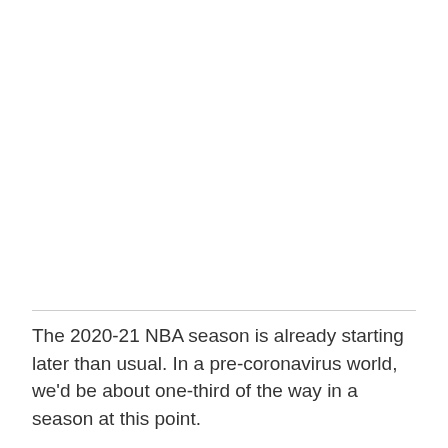The 2020-21 NBA season is already starting later than usual. In a pre-coronavirus world, we'd be about one-third of the way in a season at this point.